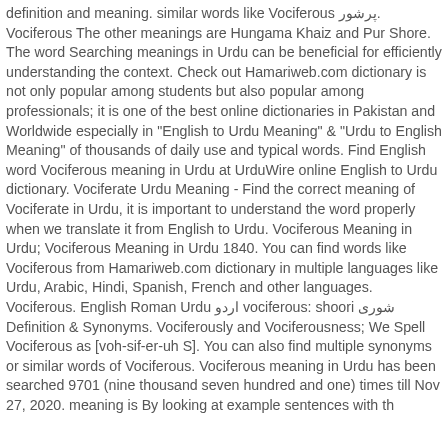definition and meaning. similar words like Vociferous پرشور. Vociferous The other meanings are Hungama Khaiz and Pur Shore. The word Searching meanings in Urdu can be beneficial for efficiently understanding the context. Check out Hamariweb.com dictionary is not only popular among students but also popular among professionals; it is one of the best online dictionaries in Pakistan and Worldwide especially in "English to Urdu Meaning" & "Urdu to English Meaning" of thousands of daily use and typical words. Find English word Vociferous meaning in Urdu at UrduWire online English to Urdu dictionary. Vociferate Urdu Meaning - Find the correct meaning of Vociferate in Urdu, it is important to understand the word properly when we translate it from English to Urdu. Vociferous Meaning in Urdu; Vociferous Meaning in Urdu 1840. You can find words like Vociferous from Hamariweb.com dictionary in multiple languages like Urdu, Arabic, Hindi, Spanish, French and other languages. Vociferous. English Roman Urdu اردو vociferous: shoori شوری Definition & Synonyms. Vociferously and Vociferousness; We Spell Vociferous as [voh-sif-er-uh S]. You can also find multiple synonyms or similar words of Vociferous. Vociferous meaning in Urdu has been searched 9701 (nine thousand seven hundred and one) times till Nov 27, 2020. meaning is By looking at example sentences with th